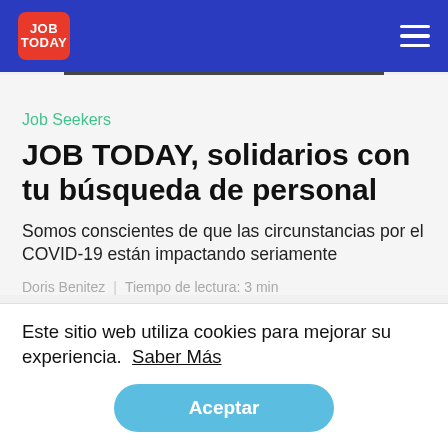JOB TODAY
Job Seekers
JOB TODAY, solidarios con tu búsqueda de personal
Somos conscientes de que las circunstancias por el COVID-19 están impactando seriamente
Doris Benitez  |  Tiempo de lectura: 3 min
Este sitio web utiliza cookies para mejorar su experiencia.  Saber Más
Aceptar